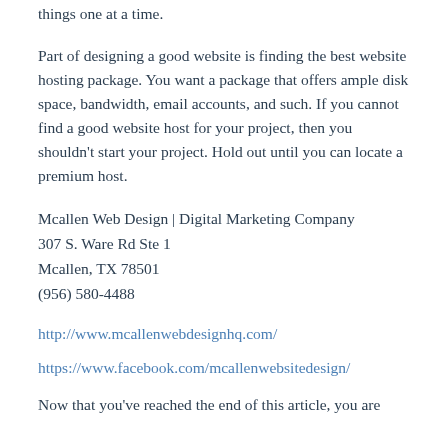things one at a time.
Part of designing a good website is finding the best website hosting package. You want a package that offers ample disk space, bandwidth, email accounts, and such. If you cannot find a good website host for your project, then you shouldn't start your project. Hold out until you can locate a premium host.
Mcallen Web Design | Digital Marketing Company
307 S. Ware Rd Ste 1
Mcallen, TX 78501
(956) 580-4488
http://www.mcallenwebdesignhq.com/
https://www.facebook.com/mcallenwebsitedesign/
Now that you've reached the end of this article, you are